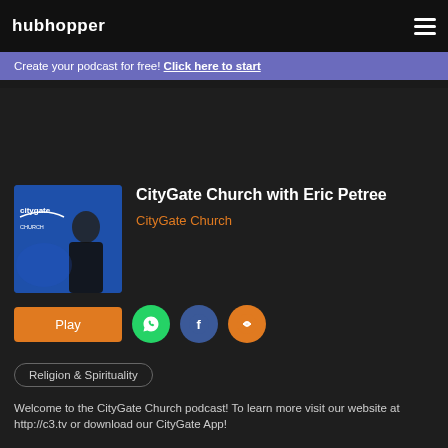hubhopper
Create your podcast for free! Click here to start
CityGate Church with Eric Petree
CityGate Church
Play
Religion & Spirituality
Welcome to the CityGate Church podcast! To learn more visit our website at http://c3.tv or download our CityGate App!